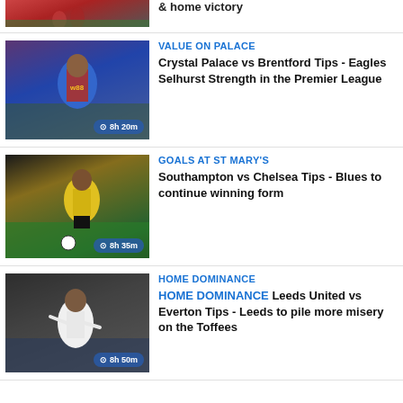[Figure (photo): Partial football photo at top (cropped)]
& home victory
[Figure (photo): Crystal Palace footballer in blue/red kit running, time badge: 8h 20m]
VALUE ON PALACE
Crystal Palace vs Brentford Tips - Eagles Selhurst Strength in the Premier League
[Figure (photo): Yellow-kit footballer running with ball on green pitch, time badge: 8h 35m]
GOALS AT ST MARY'S
Southampton vs Chelsea Tips - Blues to continue winning form
[Figure (photo): Leeds player in white kit applauding, time badge: 8h 50m]
HOME DOMINANCE
Leeds United vs Everton Tips - Leeds to pile more misery on the Toffees